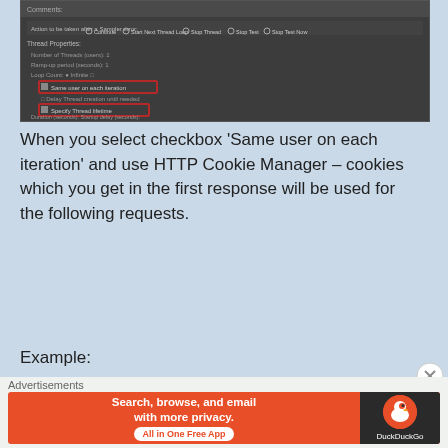[Figure (screenshot): JMeter Thread Group settings panel showing thread properties options with 'Same user on each iteration' and 'Specify Thread lifetime' checkboxes highlighted in red rectangles]
When you select checkbox ‘Same user on each iteration’ and use HTTP Cookie Manager – cookies which you get in the first response will be used for the following requests.
Example:
[Figure (screenshot): JMeter View Results Tree showing HTTP Request sampler results with Response Body and Response Headers tabs, displaying HTTP/1.1 200 OK response headers]
Advertisements
[Figure (screenshot): DuckDuckGo advertisement banner: 'Search, browse, and email with more privacy. All in One Free App' with DuckDuckGo logo]